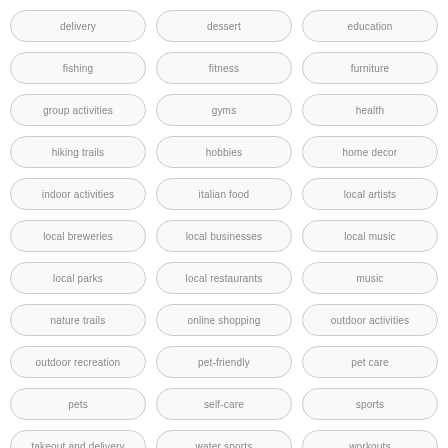delivery
dessert
education
fishing
fitness
furniture
group activities
gyms
health
hiking trails
hobbies
home decor
indoor activities
italian food
local artists
local breweries
local businesses
local music
local parks
local restaurants
music
nature trails
online shopping
outdoor activities
outdoor recreation
pet-friendly
pet care
pets
self-care
sports
takeout and delivery
water sports
workouts